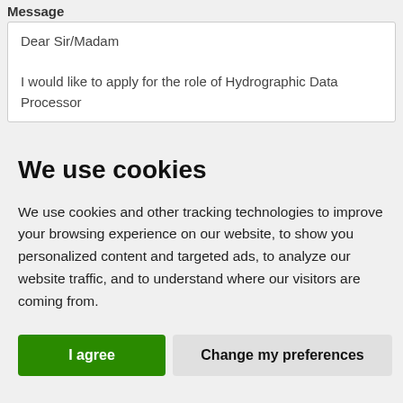Message
Dear Sir/Madam

I would like to apply for the role of Hydrographic Data Processor
We use cookies
We use cookies and other tracking technologies to improve your browsing experience on our website, to show you personalized content and targeted ads, to analyze our website traffic, and to understand where our visitors are coming from.
I agree | Change my preferences